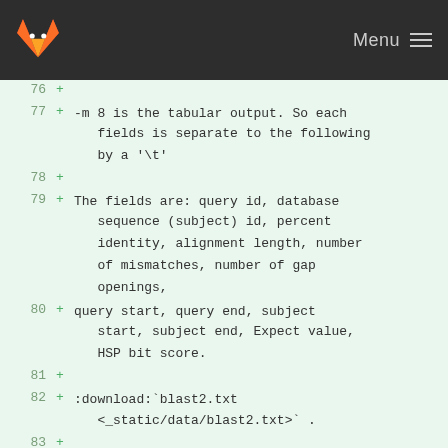GitLab — Menu
76  +
77  + -m 8 is the tabular output. So each fields is separate to the following by a '\t'
78  +
79  + The fields are: query id, database sequence (subject) id, percent identity, alignment length, number of mismatches, number of gap openings,
80  + query start, query end, subject start, subject end, Expect value, HSP bit score.
81  +
82  + :download:`blast2.txt <_static/data/blast2.txt>` .
83  +
84  + | parse the file
85  + | sort the hits by their *percent identity* in the descending order.